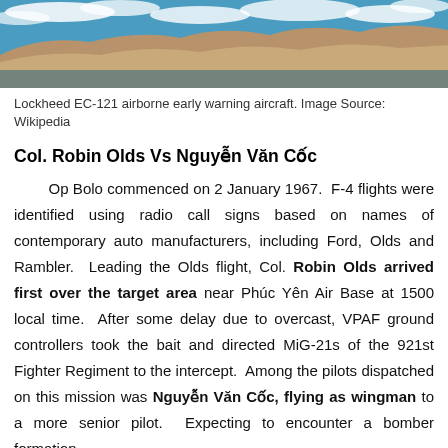[Figure (photo): Aerial/satellite photograph showing a coastline with mountains or hills and blue ocean water, with clouds visible, depicting the setting for Lockheed EC-121 airborne early warning aircraft context.]
Lockheed EC-121 airborne early warning aircraft. Image Source: Wikipedia
Col. Robin Olds Vs Nguyễn Văn Cốc
Op Bolo commenced on 2 January 1967. F-4 flights were identified using radio call signs based on names of contemporary auto manufacturers, including Ford, Olds and Rambler. Leading the Olds flight, Col. Robin Olds arrived first over the target area near Phúc Yên Air Base at 1500 local time. After some delay due to overcast, VPAF ground controllers took the bait and directed MiG-21s of the 921st Fighter Regiment to the intercept. Among the pilots dispatched on this mission was Nguyễn Văn Cốc, flying as wingman to a more senior pilot. Expecting to encounter a bomber formation,